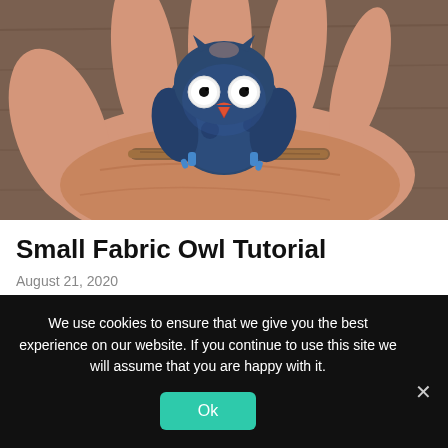[Figure (photo): A hand holding a small handmade fabric owl perched on a tiny twig. The owl is made from dark blue floral fabric with white embroidered eyes with black beads, an orange/red beak, and blue fabric feet. The background shows a wooden surface.]
Small Fabric Owl Tutorial
August 21, 2020
We use cookies to ensure that we give you the best experience on our website. If you continue to use this site we will assume that you are happy with it.